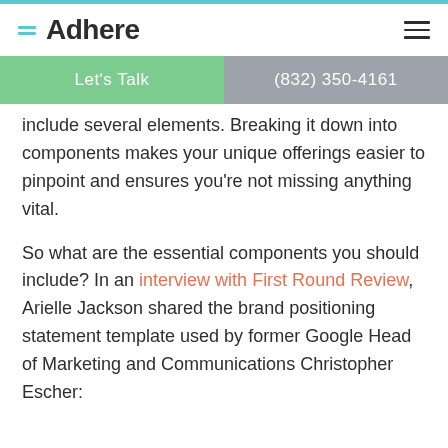Adhere
Let's Talk    (832) 350-4161
include several elements. Breaking it down into components makes your unique offerings easier to pinpoint and ensures you're not missing anything vital.
So what are the essential components you should include? In an interview with First Round Review, Arielle Jackson shared the brand positioning statement template used by former Google Head of Marketing and Communications Christopher Escher: